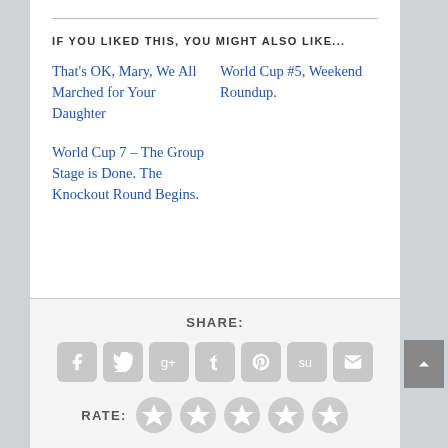IF YOU LIKED THIS, YOU MIGHT ALSO LIKE...
That's OK, Mary, We All Marched for Your Daughter
World Cup #5, Weekend Roundup.
World Cup 7 – The Group Stage is Done. The Knockout Round Begins.
SHARE:
[Figure (infographic): Social share icons: Facebook, Twitter, Google+, Tumblr, Pinterest, StumbleUpon, Email]
RATE:
[Figure (infographic): Five star rating icons, all empty/grey]